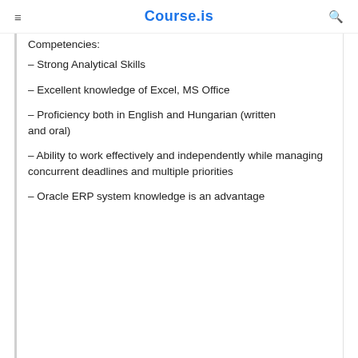Course.is
Competencies:
– Strong Analytical Skills
– Excellent knowledge of Excel, MS Office
– Proficiency both in English and Hungarian (written and oral)
– Ability to work effectively and independently while managing concurrent deadlines and multiple priorities
– Oracle ERP system knowledge is an advantage